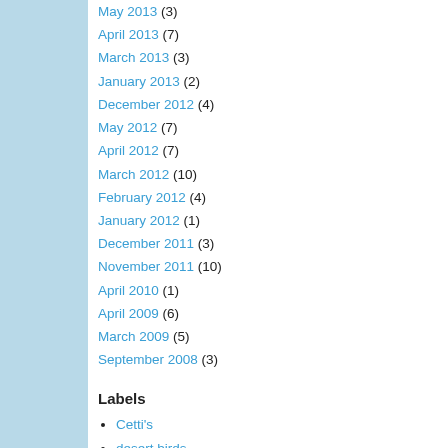May 2013 (3)
April 2013 (7)
March 2013 (3)
January 2013 (2)
December 2012 (4)
May 2012 (7)
April 2012 (7)
March 2012 (10)
February 2012 (4)
January 2012 (1)
December 2011 (3)
November 2011 (10)
April 2010 (1)
April 2009 (6)
March 2009 (5)
September 2008 (3)
Labels
Cetti's
desert birds
Israel birds